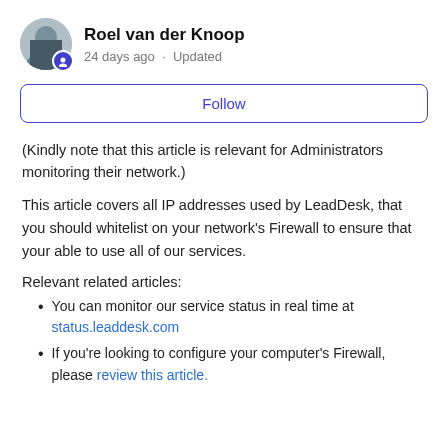Roel van der Knoop · 24 days ago · Updated
Follow
(Kindly note that this article is relevant for Administrators monitoring their network.)
This article covers all IP addresses used by LeadDesk, that you should whitelist on your network's Firewall to ensure that your able to use all of our services.
Relevant related articles:
You can monitor our service status in real time at status.leaddesk.com
If you're looking to configure your computer's Firewall, please review this article.